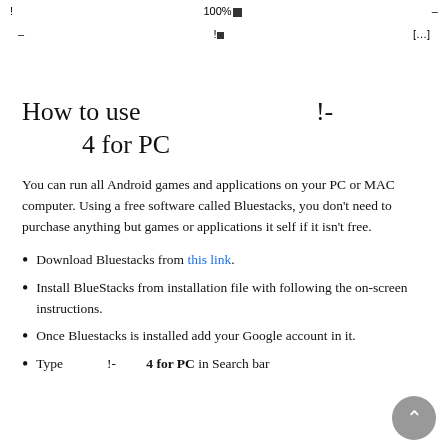! 100%■ –
– !■ [...]
How to use !- 4 for PC
You can run all Android games and applications on your PC or MAC computer. Using a free software called Bluestacks, you don't need to purchase anything but games or applications it self if it isn't free.
Download Bluestacks from this link.
Install BlueStacks from installation file with following the on-screen instructions.
Once Bluestacks is installed add your Google account in it.
Type !- 4 for PC in Search bar